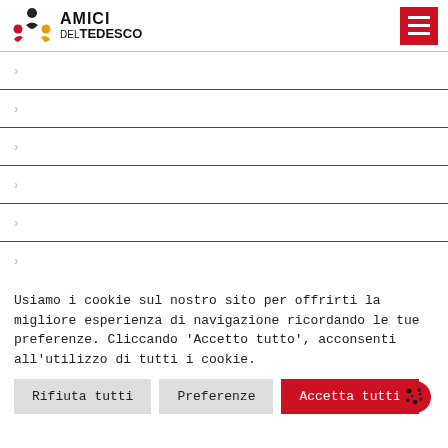Amici del Tedesco — logo and hamburger menu
Centro Aggregazione
Lavoro
Parco
Io Cresco
News
Video
Usiamo i cookie sul nostro sito per offrirti la migliore esperienza di navigazione ricordando le tue preferenze. Cliccando 'Accetto tutto', acconsenti all'utilizzo di tutti i cookie.
Rifiuta tutti | Preferenze | Accetta tutti